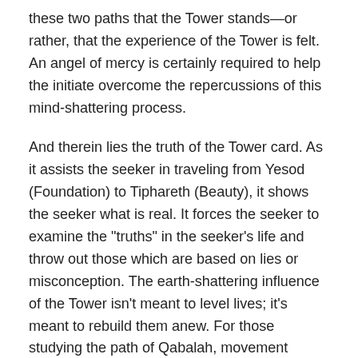these two paths that the Tower stands—or rather, that the experience of the Tower is felt. An angel of mercy is certainly required to help the initiate overcome the repercussions of this mind-shattering process.
And therein lies the truth of the Tower card. As it assists the seeker in traveling from Yesod (Foundation) to Tiphareth (Beauty), it shows the seeker what is real. It forces the seeker to examine the "truths" in the seeker's life and throw out those which are based on lies or misconception. The earth-shattering influence of the Tower isn't meant to level lives; it's meant to rebuild them anew. For those studying the path of Qabalah, movement through the spheres requires discipline, hard work, and a stern look at oneself. The tower card only helps the seeker to find the way to spiritual truth.